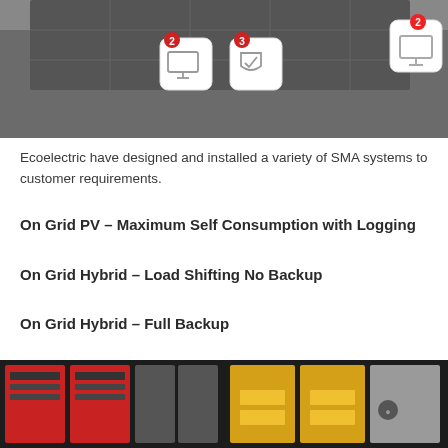[Figure (photo): Top portion of a solar installation photo showing rooftop panels with two numbered icons (2 and 3) overlaid — icon 2 shows a monitor/display symbol, icon 3 shows a shield/check symbol]
Ecoelectric have designed and installed a variety of SMA systems to customer requirements.
On Grid PV – Maximum Self Consumption with Logging
On Grid Hybrid – Load Shifting No Backup
On Grid Hybrid – Full Backup
Off Grid with Auto Genset
[Figure (photo): Row of SMA inverters and battery storage units mounted on a wall — red inverters on the left, yellow battery units in the centre, and a grey unit on the right, against a dark background]